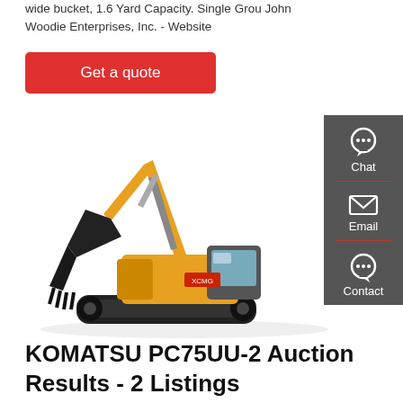wide bucket, 1.6 Yard Capacity. Single Grou John Woodie Enterprises, Inc. - Website
Get a quote
[Figure (photo): Yellow XCMG crawler excavator with large bucket attachment, shown in profile view on white background]
[Figure (infographic): Dark grey sidebar with Chat, Email, and Contact icons and labels]
KOMATSU PC75UU-2 Auction Results - 2 Listings